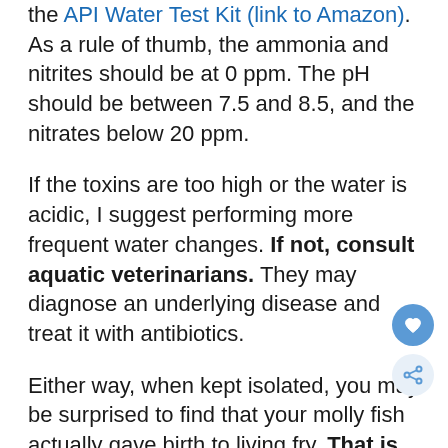the API Water Test Kit (link to Amazon). As a rule of thumb, the ammonia and nitrites should be at 0 ppm. The pH should be between 7.5 and 8.5, and the nitrates below 20 ppm.
If the toxins are too high or the water is acidic, I suggest performing more frequent water changes. If not, consult aquatic veterinarians. They may diagnose an underlying disease and treat it with antibiotics.
Either way, when kept isolated, you may be surprised to find that your molly fish actually gave birth to living fry. That is how misleading a bloated molly fish can be. But if the fish is ind sick, you've already isolated it and prevented the